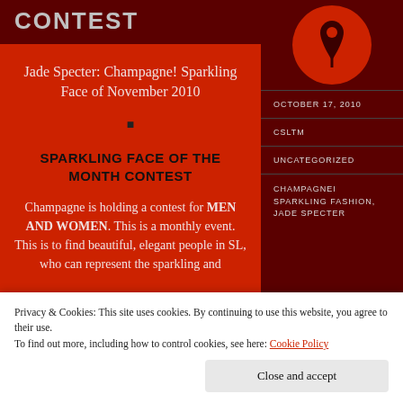CONTEST
Jade Specter: Champagne! Sparkling Face of November 2010
SPARKLING FACE OF THE MONTH CONTEST
Champagne is holding a contest for MEN AND WOMEN. This is a monthly event. This is to find beautiful, elegant people in SL, who can represent the sparkling and
OCTOBER 17, 2010
CSLTM
UNCATEGORIZED
CHAMPAGNEI SPARKLING FASHION, JADE SPECTER
Privacy & Cookies: This site uses cookies. By continuing to use this website, you agree to their use.
To find out more, including how to control cookies, see here: Cookie Policy
Close and accept